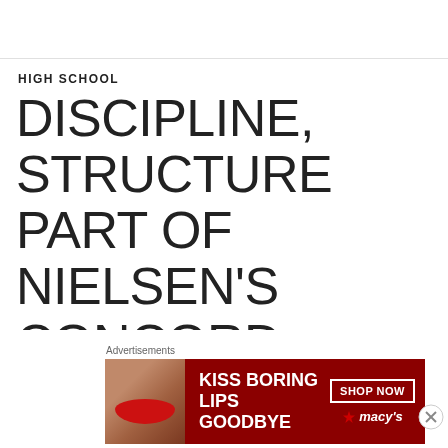HIGH SCHOOL
DISCIPLINE, STRUCTURE PART OF NIELSEN'S CONCORD PROGRAM
APRIL 19, 2017   3 COMMENTS
[Figure (logo): Baseball logo with text STEVE KRAH'S, circular design with red, black, and teal colors]
Advertisements
[Figure (photo): Macy's advertisement: KISS BORING LIPS GOODBYE with SHOP NOW button and macy's logo, dark red background with woman's face photo]